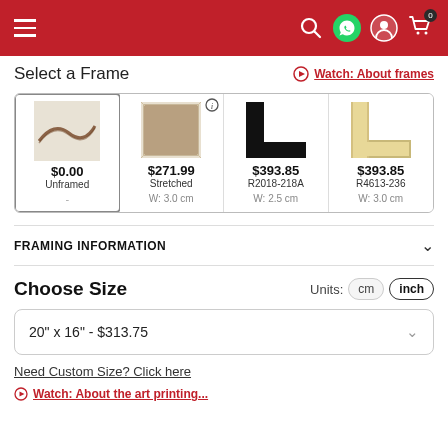Navigation bar with hamburger menu, search, WhatsApp, account, and cart (0) icons
Select a Frame
Watch: About frames
| Unframed | Stretched | R2018-218A | R4613-236 |
| --- | --- | --- | --- |
| $0.00 Unframed - | $271.99 Stretched W: 3.0 cm | $393.85 R2018-218A W: 2.5 cm | $393.85 R4613-236 W: 3.0 cm |
FRAMING INFORMATION
Choose Size
Units: cm inch
20" x 16" - $313.75
Need Custom Size? Click here
Watch: About the art printing...